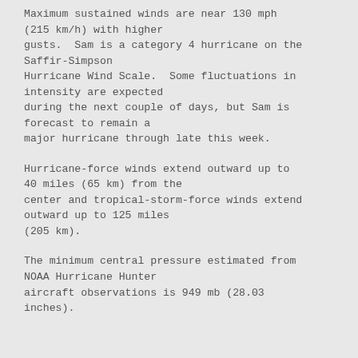Maximum sustained winds are near 130 mph (215 km/h) with higher gusts.  Sam is a category 4 hurricane on the Saffir-Simpson Hurricane Wind Scale.  Some fluctuations in intensity are expected during the next couple of days, but Sam is forecast to remain a major hurricane through late this week.
Hurricane-force winds extend outward up to 40 miles (65 km) from the center and tropical-storm-force winds extend outward up to 125 miles (205 km).
The minimum central pressure estimated from NOAA Hurricane Hunter aircraft observations is 949 mb (28.03 inches).